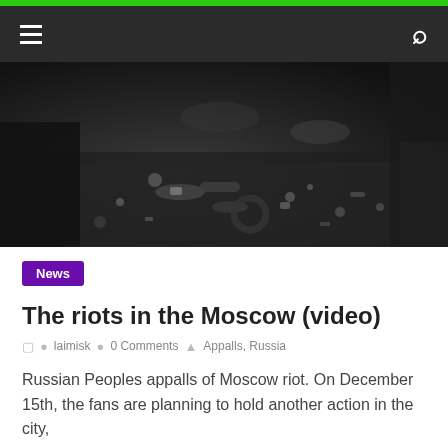Navigation bar with hamburger menu and search icon
[Figure (photo): Black and white photo of street debris and scattered objects after a riot in Moscow]
News
The riots in the Moscow (video)
laimisk   0 Comments   Appalls, Russia
Russian Peoples appalls of Moscow riot. On December 15th, the fans are planning to hold another action in the city,
Read more